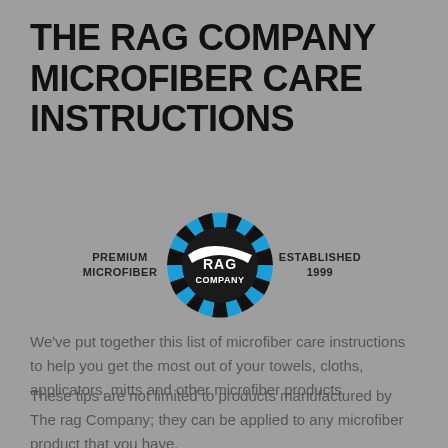THE RAG COMPANY MICROFIBER CARE INSTRUCTIONS
[Figure (logo): The Rag Company logo — circular badge with blue and black radiating spokes, white text 'THE RAG COMPANY' in the center. Flanked by text: 'PREMIUM MICROFIBER' on the left and 'ESTABLISHED 1999' on the right.]
We've put together this list of microfiber care instructions to help you get the most out of your towels, cloths, applicators, mitts and other microfiber products.
These tips are not limited to products manufactured by The rag Company; they can be applied to any microfiber product that you have.